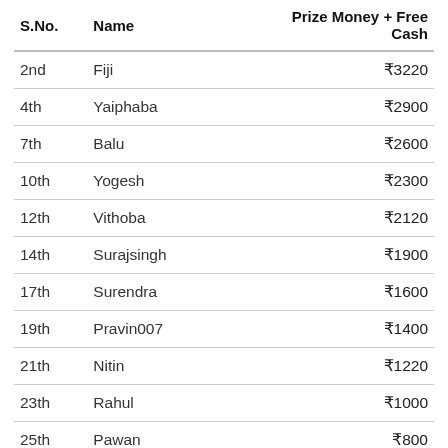| S.No. | Name | Prize Money + Free Cash |
| --- | --- | --- |
| 2nd | Fiji | ₹3220 |
| 4th | Yaiphaba | ₹2900 |
| 7th | Balu | ₹2600 |
| 10th | Yogesh | ₹2300 |
| 12th | Vithoba | ₹2120 |
| 14th | Surajsingh | ₹1900 |
| 17th | Surendra | ₹1600 |
| 19th | Pravin007 | ₹1400 |
| 21th | Nitin | ₹1220 |
| 23th | Rahul | ₹1000 |
| 25th | Pawan | ₹800 |